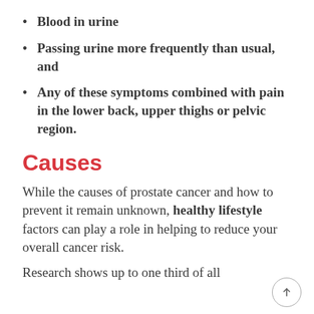Blood in urine
Passing urine more frequently than usual, and
Any of these symptoms combined with pain in the lower back, upper thighs or pelvic region.
Causes
While the causes of prostate cancer and how to prevent it remain unknown, healthy lifestyle factors can play a role in helping to reduce your overall cancer risk.
Research shows up to one third of all…